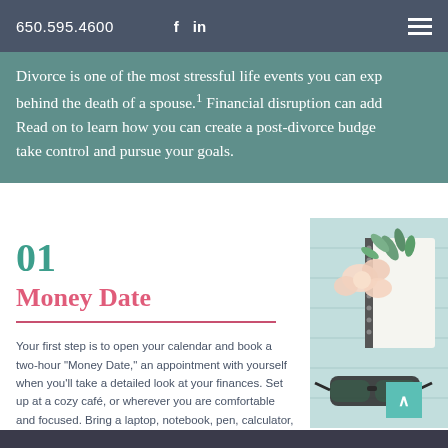650.595.4600  f  in
Divorce is one of the most stressful life events you can experience, behind the death of a spouse.¹ Financial disruption can add to the stress. Read on to learn how you can create a post-divorce budget to help you take control and pursue your goals.
01
Money Date
Your first step is to open your calendar and book a two-hour “Money Date,” an appointment with yourself when you’ll take a detailed look at your finances. Set up at a cozy café, or wherever you are comfortable and focused. Bring a laptop, notebook, pen, calculator, calendar, and passwords for your online accounts.
[Figure (photo): Flat lay photo of a notebook/planner with a flower, eucalyptus, and sunglasses on a light blue background]